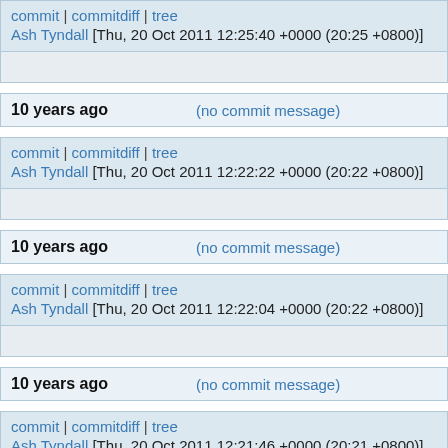commit | commitdiff | tree
Ash Tyndall [Thu, 20 Oct 2011 12:25:40 +0000 (20:25 +0800)]
10 years ago   (no commit message)
commit | commitdiff | tree
Ash Tyndall [Thu, 20 Oct 2011 12:22:22 +0000 (20:22 +0800)]
10 years ago   (no commit message)
commit | commitdiff | tree
Ash Tyndall [Thu, 20 Oct 2011 12:22:04 +0000 (20:22 +0800)]
10 years ago   (no commit message)
commit | commitdiff | tree
Ash Tyndall [Thu, 20 Oct 2011 12:21:46 +0000 (20:21 +0800)]